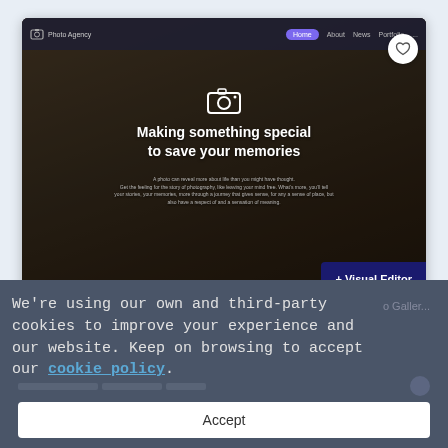[Figure (screenshot): Screenshot of a photography website with a hero image showing sandals, hat, camera, and travel items on a dark background. Text reads 'Making something special to save your memories'. A dark blue badge in the bottom right says '+ Visual Editor & SEO Tools'. There is a white circular heart button in the top right corner.]
We're using our own and third-party cookies to improve your experience and our website. Keep on browsing to accept our cookie policy.
Accept